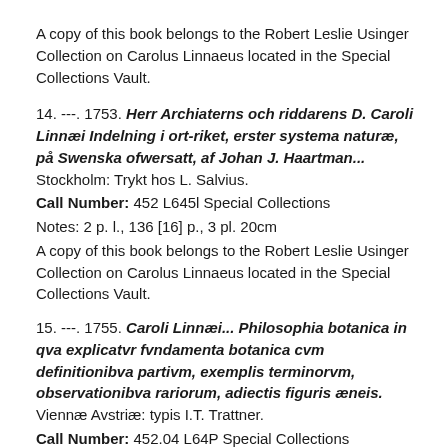A copy of this book belongs to the Robert Leslie Usinger Collection on Carolus Linnaeus located in the Special Collections Vault.
14. ---. 1753. Herr Archiaterns och riddarens D. Caroli Linnæi Indelning i ort-riket, erster systema naturæ, på Swenska ofwersatt, af Johan J. Haartman... Stockholm: Trykt hos L. Salvius.
Call Number: 452 L645l Special Collections
Notes: 2 p. l., 136 [16] p., 3 pl. 20cm
A copy of this book belongs to the Robert Leslie Usinger Collection on Carolus Linnaeus located in the Special Collections Vault.
15. ---. 1755. Caroli Linnæi... Philosophia botanica in qva explicatvr fvndamenta botanica cvm definitionibva partivm, exemplis terminorvm, observationibva rariorum, adiectis figuris æneis. Viennæ Avstriæ: typis I.T. Trattner.
Call Number: 452.04 L64P Special Collections
Notes: 2 p. l., 364 p. XI pl. 20.5cm
A copy of this book belongs to the Robert Leslie Usinger